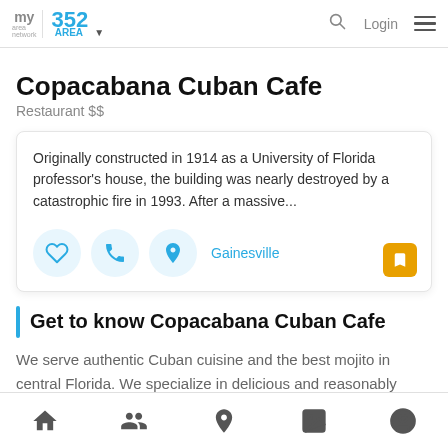my area network | 352 AREA | Login
Copacabana Cuban Cafe
Restaurant $$
Originally constructed in 1914 as a University of Florida professor's house, the building was nearly destroyed by a catastrophic fire in 1993. After a massive...
Gainesville
Get to know Copacabana Cuban Cafe
We serve authentic Cuban cuisine and the best mojito in central Florida. We specialize in delicious and reasonably priced cuisine, including our house specialties and other customer favorites.
Home | People | Location | Photos | Profile